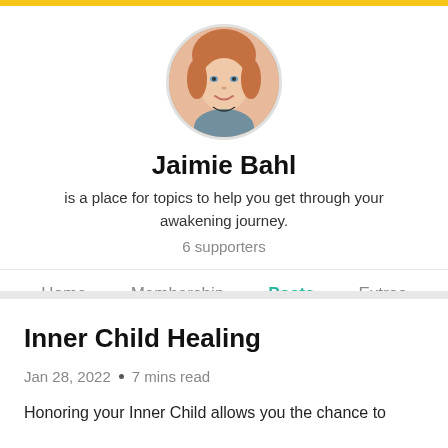[Figure (photo): Circular profile photo of Jaimie Bahl, a woman with reddish-brown hair]
Jaimie Bahl
is a place for topics to help you get through your awakening journey.
6 supporters
Home   Membership   Posts   Extras
Inner Child Healing
Jan 28, 2022  •  7 mins read
Honoring your Inner Child allows you the chance to